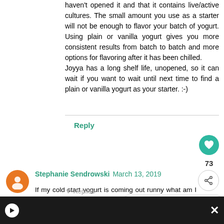haven't opened it and that it contains live/active cultures. The small amount you use as a starter will not be enough to flavor your batch of yogurt. Using plain or vanilla yogurt gives you more consistent results from batch to batch and more options for flavoring after it has been chilled. Joyya has a long shelf life, unopened, so it can wait if you want to wait until next time to find a plain or vanilla yogurt as your starter. :-)
Reply
73
Stephanie Sendrowski March 13, 2019
If my cold start yogurt is coming out runny what am I doing wrong?? I used Fairlife Milk, can of sweetened condensed milk and 2 tbsp of starter yogurt. Thank you so much for your help!
Reply
▸ Replies
[Figure (infographic): WHAT'S NEXT arrow Cold Start Yogurt FAQ promo box with yogurt image]
[Figure (infographic): Dark ad bar at bottom with play button and close X button]